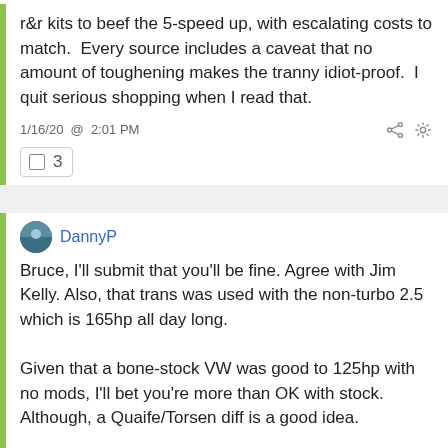r&r kits to beef the 5-speed up, with escalating costs to match.  Every source includes a caveat that no amount of toughening makes the tranny idiot-proof.  I quit serious shopping when I read that.
1/16/20  @  2:01 PM
3
DannyP
Bruce, I'll submit that you'll be fine. Agree with Jim Kelly. Also, that trans was used with the non-turbo 2.5 which is 165hp all day long.

Given that a bone-stock VW was good to 125hp with no mods, I'll bet you're more than OK with stock. Although, a Quaife/Torsen diff is a good idea.